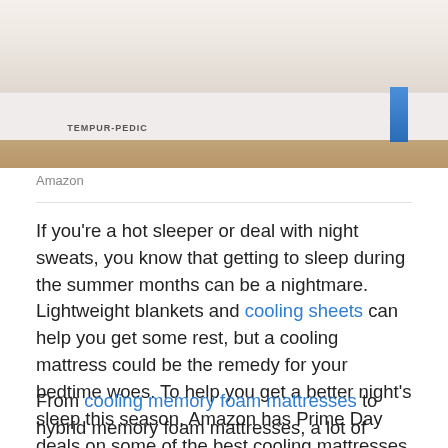[Figure (photo): Photo of a Tempur-Pedic mattress on a bed frame with bedding and a pillow visible at the top, with a blue brand label on the side of the mattress.]
Amazon
If you're a hot sleeper or deal with night sweats, you know that getting to sleep during the summer months can be a nightmare. Lightweight blankets and cooling sheets can help you get some rest, but a cooling mattress could be the remedy for your bedtime woes. To help you get a better night's sleep this season, Amazon has Prime Day deals on some of the best cooling mattresses and you get them on Prime Day.
From cooling memory foam mattresses to hybrid memory foam mattresses, a lot of modern mattresses incorporate heat-reflecting foam and other features to